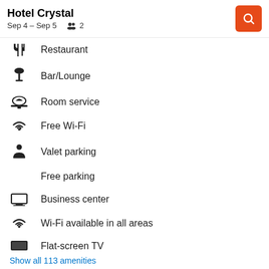Hotel Crystal
Sep 4 – Sep 5   2
Restaurant
Bar/Lounge
Room service
Free Wi-Fi
Valet parking
Free parking
Business center
Wi-Fi available in all areas
Flat-screen TV
Show all 113 amenities